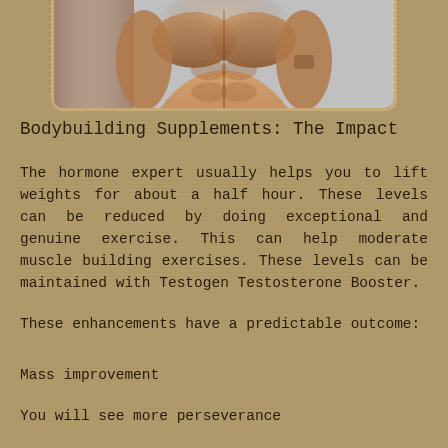[Figure (photo): Muscular male torso showing defined abs and chest, shirtless, on a light grey background]
Bodybuilding Supplements: The Impact
The hormone expert usually helps you to lift weights for about a half hour. These levels can be reduced by doing exceptional and genuine exercise. This can help moderate muscle building exercises. These levels can be maintained with Testogen Testosterone Booster.
These enhancements have a predictable outcome:
Mass improvement
You will see more perseverance